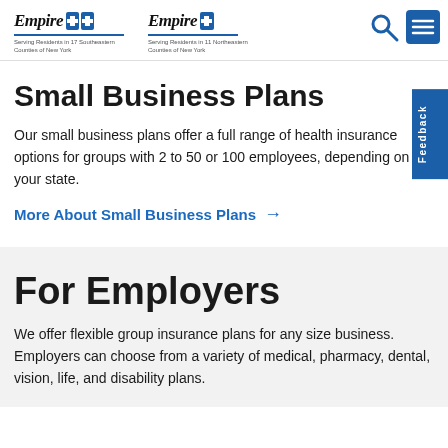Empire BlueCross BlueShield | Serving Residents in 17 Southeastern Counties of New York   Empire BlueCross | Serving Residents in 11 Northeastern Counties of New York
Small Business Plans
Our small business plans offer a full range of health insurance options for groups with 2 to 50 or 100 employees, depending on your state.
More About Small Business Plans →
For Employers
We offer flexible group insurance plans for any size business. Employers can choose from a variety of medical, pharmacy, dental, vision, life, and disability plans.